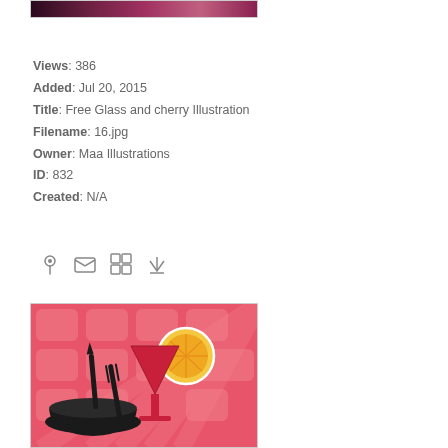[Figure (photo): Top cropped image showing a dark pink/purple gradient banner]
Views: 386
Added: Jul 20, 2015
Title: Free Glass and cherry Illustration
Filename: 16.jpg
Owner: Maa Illustrations
ID: 832
Created: N/A
[Figure (illustration): Illustration of a cocktail glass with a lemon slice garnish and a bowl with fork on a pink geometric background]